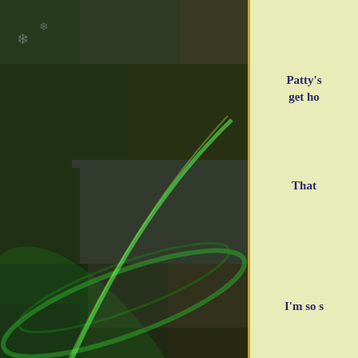[Figure (photo): A collage of multiple celebrity/fan photos arranged in a grid, overlaid with green light-ray/laser effects. Photos include various people in different poses, some black and white, some color. The collage has a dark greenish tint overall.]
Patty's get ho
That
I'm so s